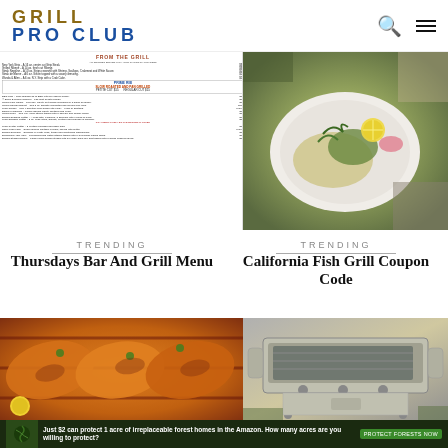GRILL PRO CLUB
oes Like This
[Figure (photo): Restaurant menu card showing 'FROM THE GRILL' with various entrees and PRIME RIB section]
[Figure (photo): Plated food dish with greens, lemon slices and garnishes on a white plate]
TRENDING
Thursdays Bar And Grill Menu
TRENDING
California Fish Grill Coupon Code
[Figure (photo): Grilled fish fillets with herbs and lemon on a dark grill]
[Figure (photo): Stainless steel outdoor grill/BBQ machine]
Just $2 can protect 1 acre of irreplaceable forest homes in the Amazon. How many acres are you willing to protect?